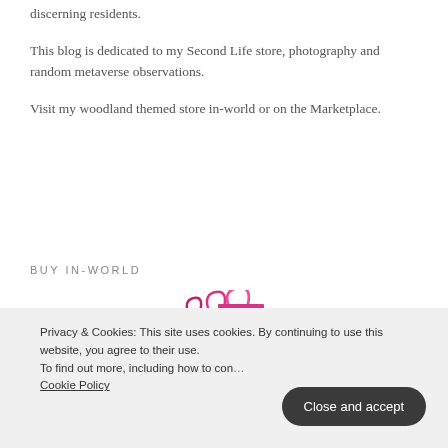discerning residents.
This blog is dedicated to my Second Life store, photography and random metaverse observations.
Visit my woodland themed store in-world or on the Marketplace.
BUY IN-WORLD
[Figure (illustration): Pink shopping bags icon with text IN-WORLD STORE]
Privacy & Cookies: This site uses cookies. By continuing to use this website, you agree to their use. To find out more, including how to con... Cookie Policy
Close and accept